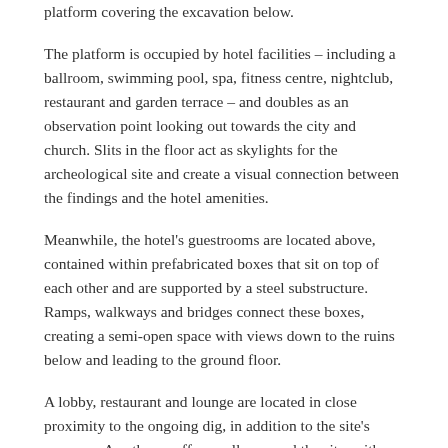platform covering the excavation below.
The platform is occupied by hotel facilities – including a ballroom, swimming pool, spa, fitness centre, nightclub, restaurant and garden terrace – and doubles as an observation point looking out towards the city and church. Slits in the floor act as skylights for the archeological site and create a visual connection between the findings and the hotel amenities.
Meanwhile, the hotel's guestrooms are located above, contained within prefabricated boxes that sit on top of each other and are supported by a steel substructure. Ramps, walkways and bridges connect these boxes, creating a semi-open space with views down to the ruins below and leading to the ground floor.
A lobby, restaurant and lounge are located in close proximity to the ongoing dig, in addition to the site's museum. A pathway offers walks around the site, with display boards explaining the history and context of the relics.
“The building is being assembled on site rather than being built there, reminding one of the temporary structures built by archeologists during the excavation,” explained the architects. “This is not a compact,